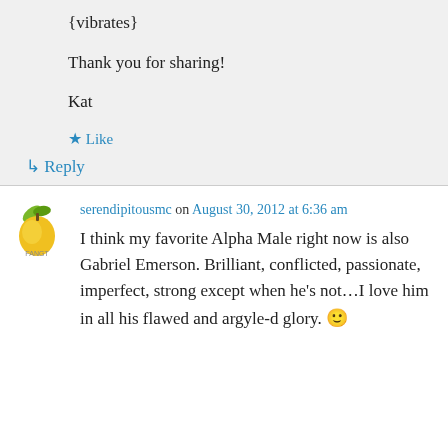{vibrates}
Thank you for sharing!
Kat
★ Like
↳ Reply
serendipitousmc on August 30, 2012 at 6:36 am
I think my favorite Alpha Male right now is also Gabriel Emerson. Brilliant, conflicted, passionate, imperfect, strong except when he's not...I love him in all his flawed and argyle-d glory. 🙂